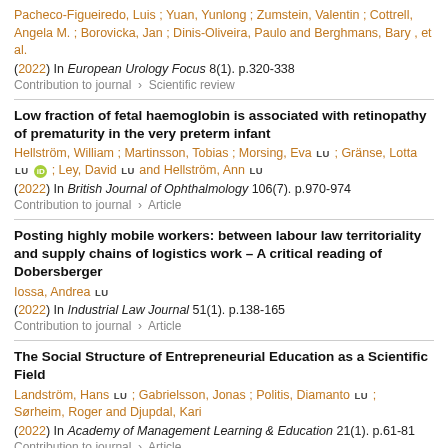Pacheco-Figueiredo, Luis ; Yuan, Yunlong ; Zumstein, Valentin ; Cottrell, Angela M. ; Borovicka, Jan ; Dinis-Oliveira, Paulo and Berghmans, Bary , et al.
(2022) In European Urology Focus 8(1). p.320-338
Contribution to journal > Scientific review
Low fraction of fetal haemoglobin is associated with retinopathy of prematurity in the very preterm infant
Hellström, William ; Martinsson, Tobias ; Morsing, Eva LU ; Gränse, Lotta LU ; Ley, David LU and Hellström, Ann LU
(2022) In British Journal of Ophthalmology 106(7). p.970-974
Contribution to journal > Article
Posting highly mobile workers: between labour law territoriality and supply chains of logistics work – A critical reading of Dobersberger
Iossa, Andrea LU
(2022) In Industrial Law Journal 51(1). p.138-165
Contribution to journal > Article
The Social Structure of Entrepreneurial Education as a Scientific Field
Landström, Hans LU ; Gabrielsson, Jonas ; Politis, Diamanto LU ; Sørheim, Roger and Djupdal, Kari
(2022) In Academy of Management Learning & Education 21(1). p.61-81
Contribution to journal > Article